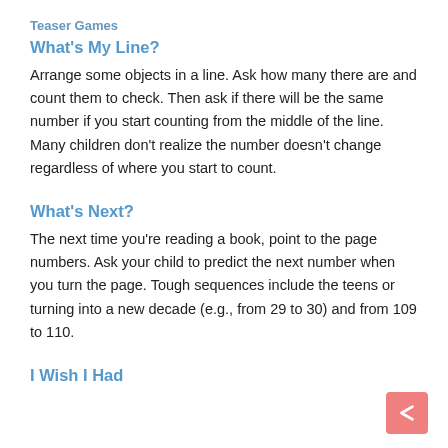Teaser Games
What's My Line?
Arrange some objects in a line. Ask how many there are and count them to check. Then ask if there will be the same number if you start counting from the middle of the line. Many children don't realize the number doesn't change regardless of where you start to count.
What's Next?
The next time you're reading a book, point to the page numbers. Ask your child to predict the next number when you turn the page. Tough sequences include the teens or turning into a new decade (e.g., from 29 to 30) and from 109 to 110.
I Wish I Had